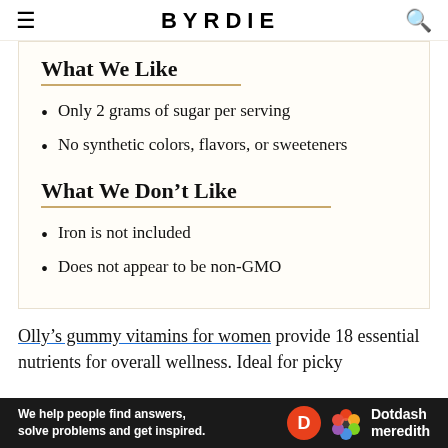BYRDIE
What We Like
Only 2 grams of sugar per serving
No synthetic colors, flavors, or sweeteners
What We Don't Like
Iron is not included
Does not appear to be non-GMO
Olly's gummy vitamins for women provide 18 essential nutrients for overall wellness. Ideal for picky
[Figure (other): Dotdash Meredith advertisement banner: 'We help people find answers, solve problems and get inspired.' with Dotdash Meredith logo]